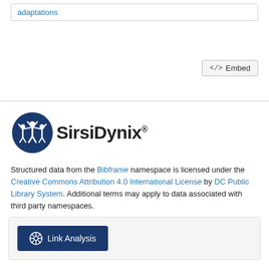adaptations
</> Embed
[Figure (logo): SirsiDynix logo with icon and text]
Structured data from the Bibframe namespace is licensed under the Creative Commons Attribution 4.0 International License by DC Public Library System. Additional terms may apply to data associated with third party namespaces.
Link Analysis